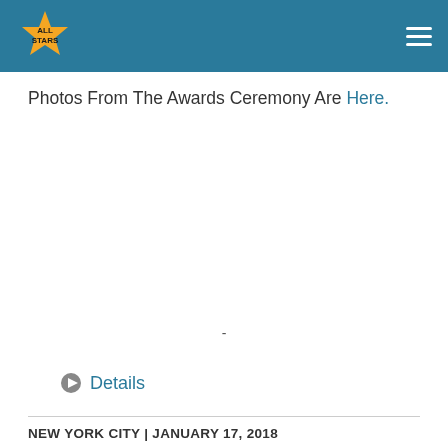All Stars logo and navigation
Photos From The Awards Ceremony Are Here.
-
Details
NEW YORK CITY | JANUARY 17, 2018